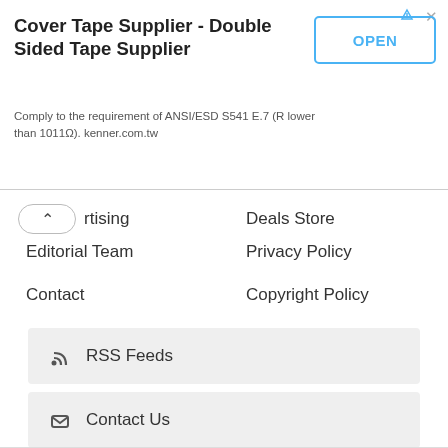[Figure (screenshot): Advertisement banner for Cover Tape Supplier / Double Sided Tape Supplier by kenner.com.tw with an OPEN button]
rtising
Deals Store
Editorial Team
Privacy Policy
Contact
Copyright Policy
RSS Feeds
Contact Us
Telegram Channel